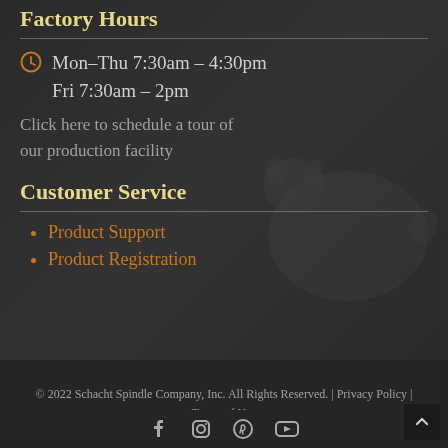Factory Hours
Mon–Thu 7:30am – 4:30pm
Fri 7:30am – 2pm
Click here to schedule a tour of our production facility
Customer Service
Product Support
Product Registration
© 2022 Schacht Spindle Company, Inc. All Rights Reserved.  |  Privacy Policy  |  Terms of Use